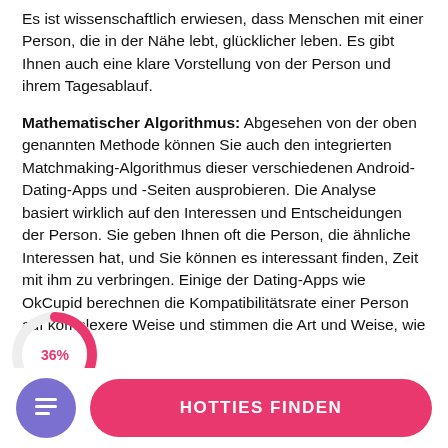Es ist wissenschaftlich erwiesen, dass Menschen mit einer Person, die in der Nähe lebt, glücklicher leben. Es gibt Ihnen auch eine klare Vorstellung von der Person und ihrem Tagesablauf.
Mathematischer Algorithmus: Abgesehen von der oben genannten Methode können Sie auch den integrierten Matchmaking-Algorithmus dieser verschiedenen Android-Dating-Apps und -Seiten ausprobieren. Die Analyse basiert wirklich auf den Interessen und Entscheidungen der Person. Sie geben Ihnen oft die Person, die ähnliche Interessen hat, und Sie können es interessant finden, Zeit mit ihm zu verbringen. Einige der Dating-Apps wie OkCupid berechnen die Kompatibilitätsrate einer Person auf komplexere Weise und stimmen die Art und Weise, wie
[Figure (donut-chart): Partial donut/pie chart overlay showing 36% label, rendered over text]